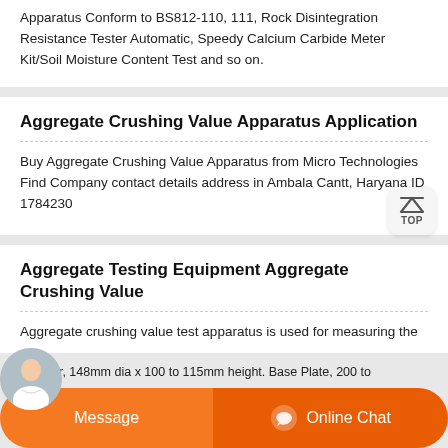Apparatus Conform to BS812-110, 111, Rock Disintegration Resistance Tester Automatic, Speedy Calcium Carbide Meter Kit/Soil Moisture Content Test and so on.
Aggregate Crushing Value Apparatus Application
Buy Aggregate Crushing Value Apparatus from Micro Technologies Find Company contact details address in Ambala Cantt, Haryana ID 1784230
Aggregate Testing Equipment Aggregate Crushing Value
Aggregate crushing value test apparatus is used for measuring the
Plunger, 148mm dia x 100 to 115mm height. Base Plate, 200 to